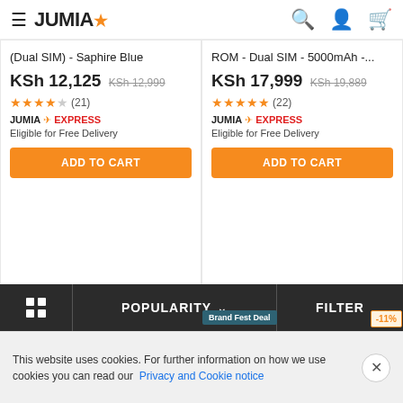JUMIA
(Dual SIM) - Saphire Blue
KSh 12,125  KSh 12,999
★★★★½ (21)
JUMIA EXPRESS
Eligible for Free Delivery
ADD TO CART
ROM - Dual SIM - 5000mAh -...
KSh 17,999  KSh 19,889
★★★★★ (22)
JUMIA EXPRESS
Eligible for Free Delivery
ADD TO CART
[Figure (photo): Smartphone product image with Free Delivery badge and -17% discount badge]
[Figure (photo): Smartphone product image with Brand Fest Deal badge and -11% discount badge]
POPULARITY  ∨  FILTER
This website uses cookies. For further information on how we use cookies you can read our Privacy and Cookie notice